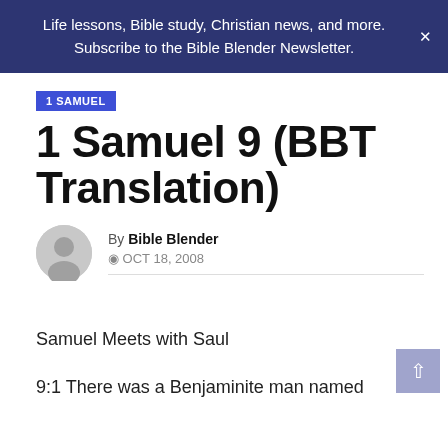Life lessons, Bible study, Christian news, and more. Subscribe to the Bible Blender Newsletter.
1 SAMUEL
1 Samuel 9 (BBT Translation)
By Bible Blender
OCT 18, 2008
Samuel Meets with Saul
9:1 There was a Benjaminite man named